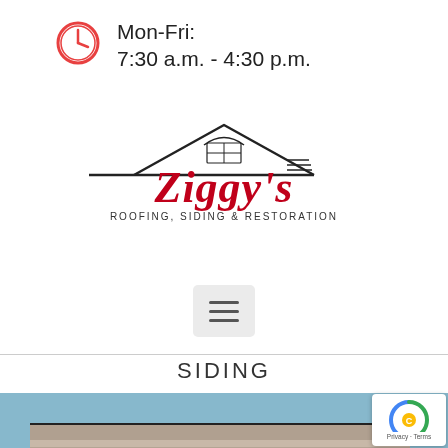Mon-Fri:
7:30 a.m. - 4:30 p.m.
[Figure (logo): Ziggy's Roofing, Siding & Restoration logo with roof outline illustration and decorative lettering]
[Figure (screenshot): Hamburger menu button (three horizontal lines) on a light grey rounded rectangle background]
SIDING
[Figure (photo): Close-up photo of grey/taupe horizontal siding panels on a building with blue sky background]
[Figure (logo): reCAPTCHA badge with Privacy and Terms text]